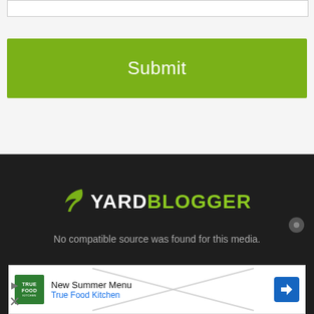[Figure (screenshot): White form area with a text input field at the top and a large green Submit button below it]
[Figure (logo): Yard Blogger logo on dark background with leaf icon, white YARD text and green BLOGGER text]
No compatible source was found for this media.
[Figure (screenshot): Advertisement banner for True Food Kitchen New Summer Menu with logo, text, and direction icon, with X close overlay]